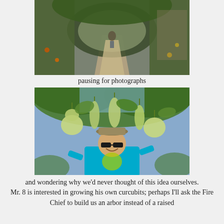[Figure (photo): A garden path tunnel covered with lush green vines and hanging gourds. A person is walking along the shaded dirt path underneath the archway. Fencing and flowers visible on the sides.]
pausing for photographs
[Figure (photo): A person wearing a teal shirt, sunglasses, and a hat, smiling while standing among large green hanging gourds and leaves on a vine arbor structure. Gourds of various shapes hang all around.]
and wondering why we'd never thought of this idea ourselves.
Mr. 8 is interested in growing his own curcubits; perhaps I'll ask the Fire Chief to build us an arbor instead of a raised